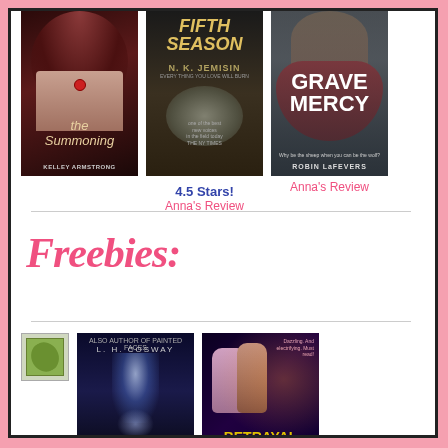[Figure (photo): Book cover: The Summoning by Kelley Armstrong — dark cover with a woman and pendant]
[Figure (photo): Book cover: The Fifth Season by N.K. Jemisin — dark fantasy cover]
[Figure (photo): Book cover: Grave Mercy by Robin LaFevers — woman in red dress on castle background]
4.5 Stars!
Anna's Review
Anna's Review
Freebies:
[Figure (photo): Small green leaf icon/placeholder image]
[Figure (photo): Book cover: L.H. Cosway — dark blue cover with light beams]
[Figure (photo): Book cover: Betrayal — dark sci-fi/fantasy cover with two figures]